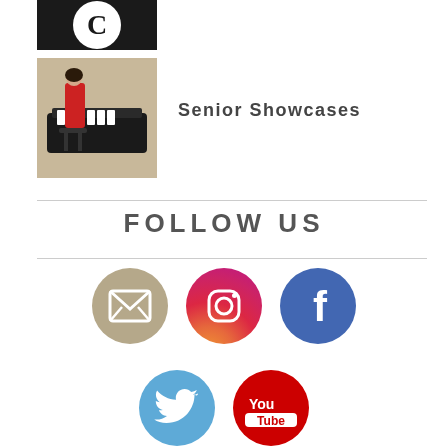[Figure (photo): Black background with white circular logo (clock/letter C icon) — cropped top of page]
[Figure (photo): Photo of a woman in a red dress playing a grand piano on a stage]
Senior Showcases
FOLLOW US
[Figure (infographic): Five social media icons: email (envelope), Instagram, Facebook, Twitter, YouTube]